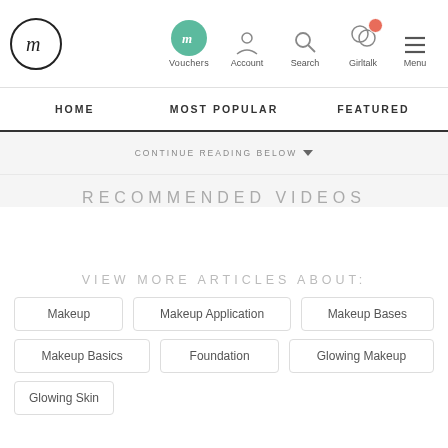fm logo | Vouchers | Account | Search | Girltalk | Menu
HOME | MOST POPULAR | FEATURED
CONTINUE READING BELOW ▼
RECOMMENDED VIDEOS
VIEW MORE ARTICLES ABOUT:
Makeup
Makeup Application
Makeup Bases
Makeup Basics
Foundation
Glowing Makeup
Glowing Skin